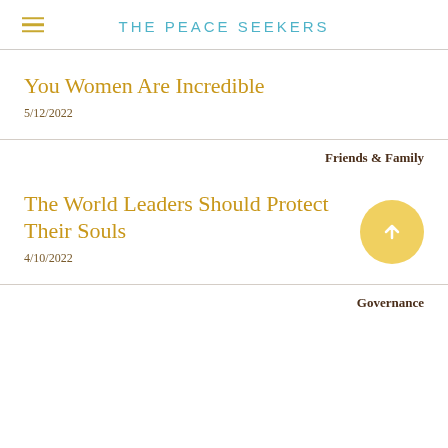THE PEACE SEEKERS
You Women Are Incredible
5/12/2022
Friends & Family
The World Leaders Should Protect Their Souls
4/10/2022
Governance